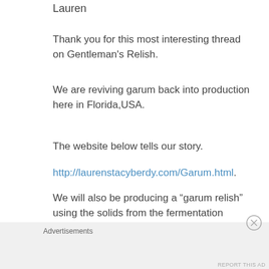Lauren
Thank you for this most interesting thread on Gentleman’s Relish.
We are reviving garum back into production here in Florida,USA.
The website below tells our story.
http://laurenstacyberdy.com/Garum.html.
We will also be producing a “garum relish” using the solids from the fermentation known as the “Allec”
Advertisements